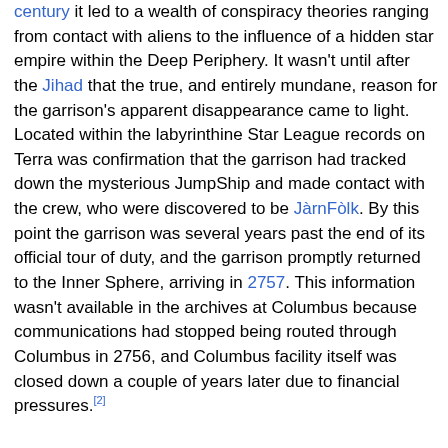century it led to a wealth of conspiracy theories ranging from contact with aliens to the influence of a hidden star empire within the Deep Periphery. It wasn't until after the Jihad that the true, and entirely mundane, reason for the garrison's apparent disappearance came to light. Located within the labyrinthine Star League records on Terra was confirmation that the garrison had tracked down the mysterious JumpShip and made contact with the crew, who were discovered to be JàrnFòlk. By this point the garrison was several years past the end of its official tour of duty, and the garrison promptly returned to the Inner Sphere, arriving in 2757. This information wasn't available in the archives at Columbus because communications had stopped being routed through Columbus in 2756, and Columbus facility itself was closed down a couple of years later due to financial pressures.[2]
Succe...
The Co... of the Epsilo... the
[Figure (other): BitLife - Life Simulator advertisement overlay with green background game screenshot on left and app icon on right, with Install button]